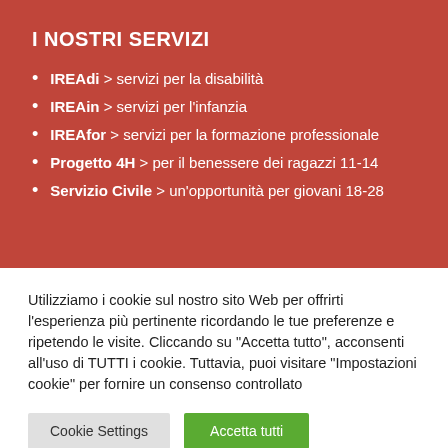I NOSTRI SERVIZI
IREAdi > servizi per la disabilità
IREAin > servizi per l'infanzia
IREAfor > servizi per la formazione professionale
Progetto 4H > per il benessere dei ragazzi 11-14
Servizio Civile > un'opportunità per giovani 18-28
Utilizziamo i cookie sul nostro sito Web per offrirti l'esperienza più pertinente ricordando le tue preferenze e ripetendo le visite. Cliccando su "Accetta tutto", acconsenti all'uso di TUTTI i cookie. Tuttavia, puoi visitare "Impostazioni cookie" per fornire un consenso controllato
Cookie Settings | Accetta tutti